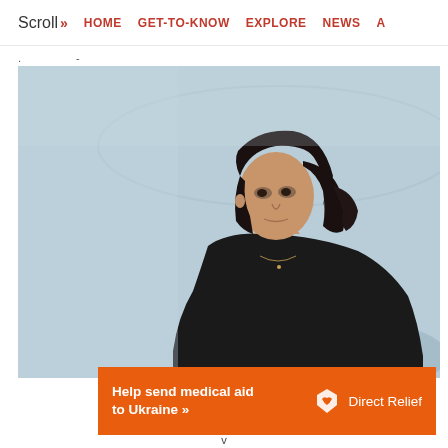Scroll >> HOME  GET-TO-KNOW  EXPLORE  NEWS  A
. -
[Figure (photo): A young woman with dark hair pulled back, wearing a black long-sleeve top, standing against a light blue/grey snowy background, looking slightly to her left. The scene appears to be outdoors in winter.]
Help send medical aid to Ukraine >> Direct Relief